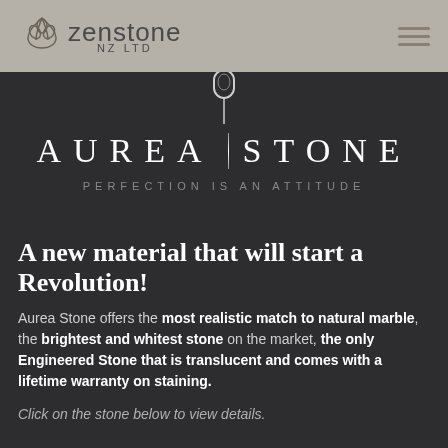zenstone NZ LTD
[Figure (logo): Aurea Stone logo with pin/needle icon above text reading AUREA STONE and tagline PERFECTION IS AN ATTITUDE]
A new material that will start a Revolution!
Aurea Stone offers the most realistic match to natural marble, the brightest and whitest stone on the market, the only Engineered Stone that is translucent and comes with a lifetime warranty on staining.
Click on the stone below to view details.